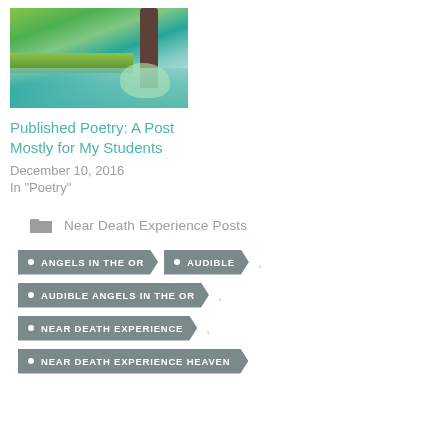[Figure (photo): Outdoor nature scene with a tree trunk, green foliage, and a body of water with reflections]
Published Poetry: A Post Mostly for My Students
December 10, 2016
In "Poetry"
Near Death Experience Posts
ANGELS IN THE OR
AUDIBLE
AUDIBLE ANGELS IN THE OR
NEAR DEATH EXPERIENCE
NEAR DEATH EXPERIENCE HEAVEN